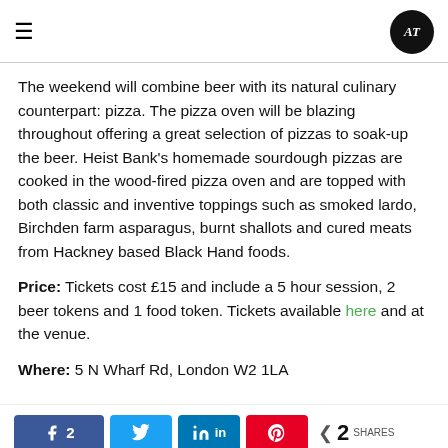≡   AT logo
The weekend will combine beer with its natural culinary counterpart: pizza. The pizza oven will be blazing throughout offering a great selection of pizzas to soak-up the beer. Heist Bank's homemade sourdough pizzas are cooked in the wood-fired pizza oven and are topped with both classic and inventive toppings such as smoked lardo, Birchden farm asparagus, burnt shallots and cured meats from Hackney based Black Hand foods.
Price: Tickets cost £15 and include a 5 hour session, 2 beer tokens and 1 food token. Tickets available here and at the venue.
Where: 5 N Wharf Rd, London W2 1LA
Share buttons: Facebook 2, Twitter, LinkedIn, Pinterest — 2 SHARES